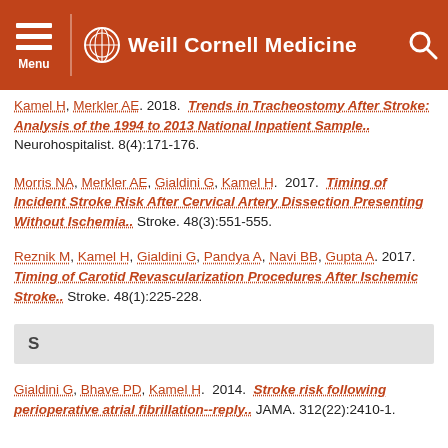Weill Cornell Medicine
Kamel H, Merkler AE. 2018. Trends in Tracheostomy After Stroke: Analysis of the 1994 to 2013 National Inpatient Sample.. Neurohospitalist. 8(4):171-176.
Morris NA, Merkler AE, Gialdini G, Kamel H. 2017. Timing of Incident Stroke Risk After Cervical Artery Dissection Presenting Without Ischemia.. Stroke. 48(3):551-555.
Reznik M, Kamel H, Gialdini G, Pandya A, Navi BB, Gupta A. 2017. Timing of Carotid Revascularization Procedures After Ischemic Stroke.. Stroke. 48(1):225-228.
S
Gialdini G, Bhave PD, Kamel H. 2014. Stroke risk following perioperative atrial fibrillation--reply.. JAMA. 312(22):2410-1.